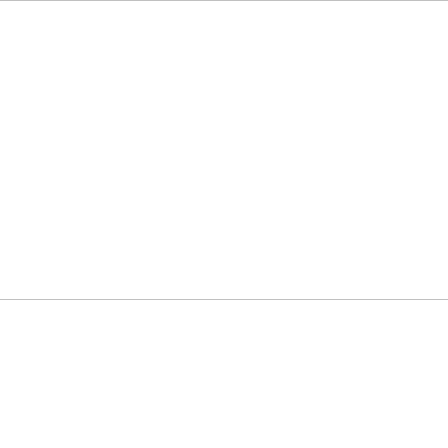To Use to INSERT the lock: Place one finger on the tab in toward this button.  Very gently push
To REMOVE the lock:  Repeat above procedure in reverse. Remove from opening.
Suitable for front loading machines only.  T
*CAUTION: Discontinue using if damaged. Use under adult supervision.
Information
About Us
Contact Global Innovations
Privacy Policy
Terms & Conditions
Customer Service
Contact Us
Returns
Site Map
© 2011 GLOBAL Innovations (AUST) Pty Ltd  |  ABN 79 760 26
Home, office, health and safety products  |  Laptop stands, note